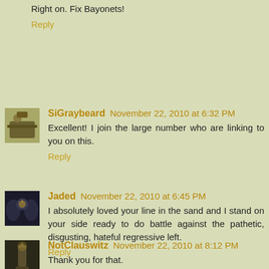Right on. Fix Bayonets!
Reply
SiGraybeard November 22, 2010 at 6:32 PM
Excellent! I join the large number who are linking to you on this.
Reply
Jaded November 22, 2010 at 6:45 PM
I absolutely loved your line in the sand and I stand on your side ready to do battle against the pathetic, disgusting, hateful regressive left.
Reply
NotClauswitz November 22, 2010 at 8:12 PM
Thank you for that.